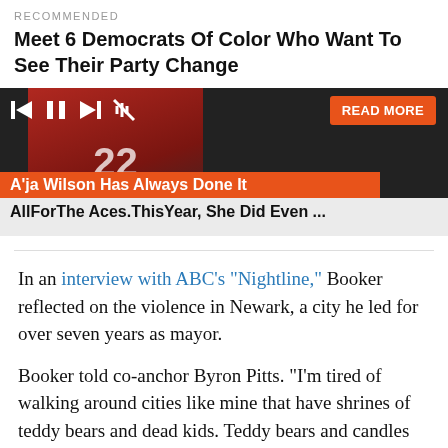RECOMMENDED
Meet 6 Democrats Of Color Who Want To See Their Party Change
[Figure (screenshot): Video player screenshot showing a basketball player wearing jersey number 22 in red, with player controls (rewind, pause, fast-forward, mute), an orange READ MORE button, and an orange/gray caption bar reading: A'ja Wilson Has Always Done It AllForThe Aces.ThisYear, She Did Even ...]
In an interview with ABC’s “Nightline,” Booker reflected on the violence in Newark, a city he led for over seven years as mayor.
Booker told co-anchor Byron Pitts. “I’m tired of walking around cities like mine that have shrines of teddy bears and dead kids. Teddy bears and candles and places where the murders happen.”